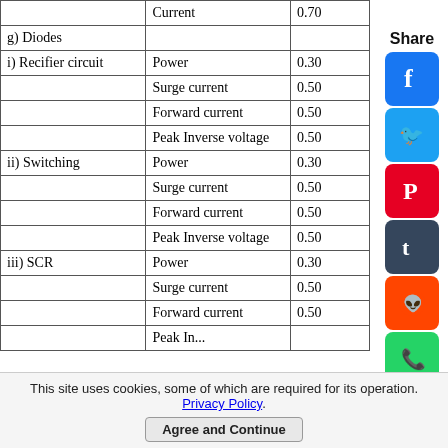| Component | Parameter | Value |
| --- | --- | --- |
|  | Current | 0.70 |
| g) Diodes |  |  |
| i) Recifier circuit | Power | 0.30 |
|  | Surge current | 0.50 |
|  | Forward current | 0.50 |
|  | Peak Inverse voltage | 0.50 |
| ii) Switching | Power | 0.30 |
|  | Surge current | 0.50 |
|  | Forward current | 0.50 |
|  | Peak Inverse voltage | 0.50 |
| iii) SCR | Power | 0.30 |
|  | Surge current | 0.50 |
|  | Forward current | 0.50 |
|  | Peak Inverse... |  |
Share
This site uses cookies, some of which are required for its operation. Privacy Policy. Agree and Continue